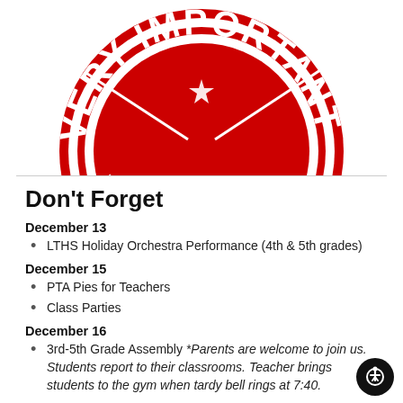[Figure (illustration): Red circular stamp graphic with the text 'VERY IMPORTANT' in bold white letters across the top and curved around the bottom, with a small red star in the center, partially cropped at the top of the page.]
Don't Forget
December 13
LTHS Holiday Orchestra Performance (4th & 5th grades)
December 15
PTA Pies for Teachers
Class Parties
December 16
3rd-5th Grade Assembly *Parents are welcome to join us. Students report to their classrooms. Teacher brings students to the gym when tardy bell rings at 7:40.